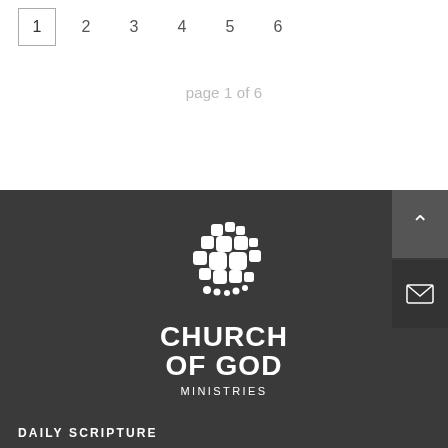1  2  3  4  5  6
page 1 of 6
[Figure (logo): Church of God Ministries logo: white geometric cross/mosaic icon above text 'CHURCH OF GOD MINISTRIES' on dark background]
DAILY SCRIPTURE